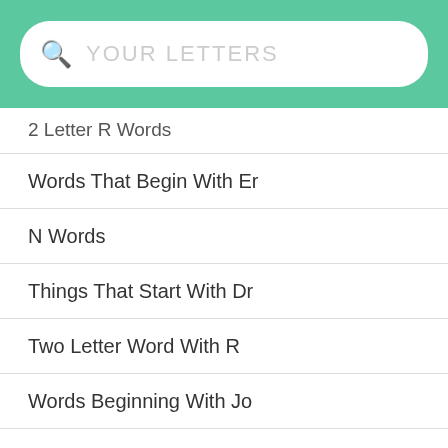YOUR LETTERS
2 Letter R Words
Words That Begin With Er
N Words
Things That Start With Dr
Two Letter Word With R
Words Beginning With Jo
Words Ending In Cy
3 Letter Words From N
Have Financial Amends To Make 3 Letter Word